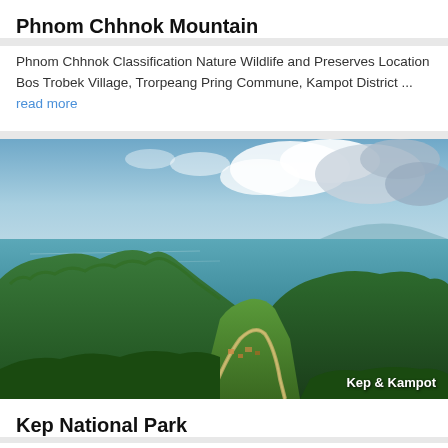Phnom Chhnok Mountain
Phnom Chhnok Classification Nature Wildlife and Preserves Location Bos Trobek Village, Trorpeang Pring Commune, Kampot District ... read more
[Figure (photo): Aerial/elevated view of Kep and Kampot coastal landscape with lush green hills, a bay with blue-green water, cloudy sky, and a road winding through the valley. Caption reads 'Kep & Kampot' in white text.]
Kep National Park
Kep National Park is a national park of Cambodia in the Kep...